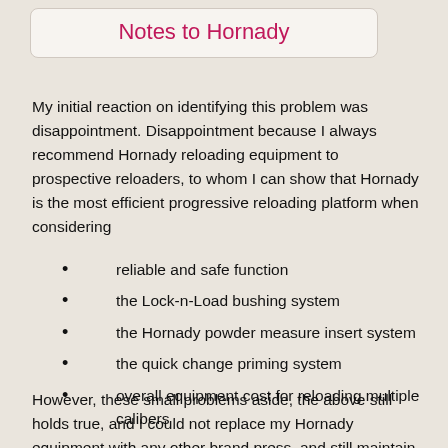Notes to Hornady
My initial reaction on identifying this problem was disappointment. Disappointment because I always recommend Hornady reloading equipment to prospective reloaders, to whom I can show that Hornady is the most efficient progressive reloading platform when considering
reliable and safe function
the Lock-n-Load bushing system
the Hornady powder measure insert system
the quick change priming system
overall equipment cost for reloading multiple calibers
However, these small problems aside, the above still holds true, and I could not replace my Hornady equipment with any other brand press, and still maintain the efficiencies listed above.